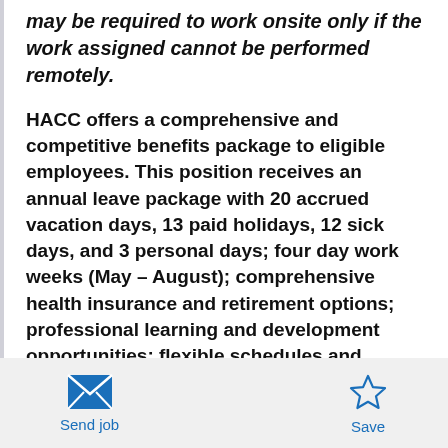may be required to work onsite only if the work assigned cannot be performed remotely.
HACC offers a comprehensive and competitive benefits package to eligible employees. This position receives an annual leave package with 20 accrued vacation days, 13 paid holidays, 12 sick days, and 3 personal days; four day work weeks (May – August); comprehensive health insurance and retirement options; professional learning and development opportunities; flexible schedules and teleworking / hybrid options; and tuition remission
Send job | Save